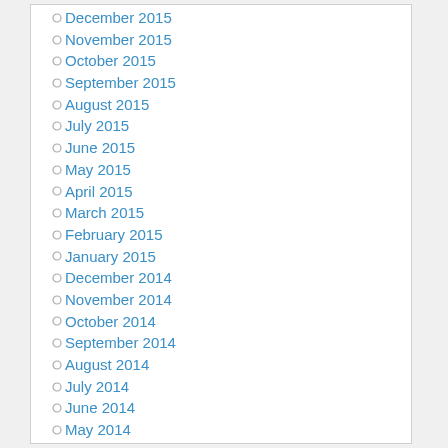December 2015
November 2015
October 2015
September 2015
August 2015
July 2015
June 2015
May 2015
April 2015
March 2015
February 2015
January 2015
December 2014
November 2014
October 2014
September 2014
August 2014
July 2014
June 2014
May 2014